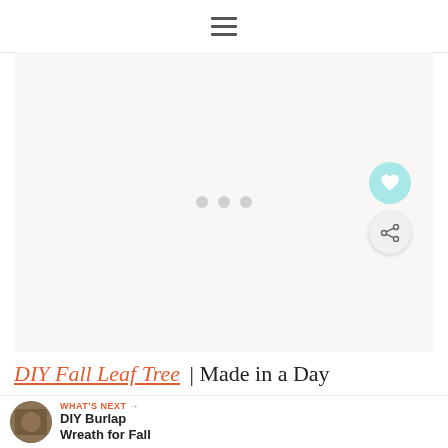≡
[Figure (other): Large blank/loading content area with three small grey dots centered, indicating a loading placeholder or ad slot]
DIY Fall Leaf Tree | Made in a Day
WHAT'S NEXT → DIY Burlap Wreath for Fall